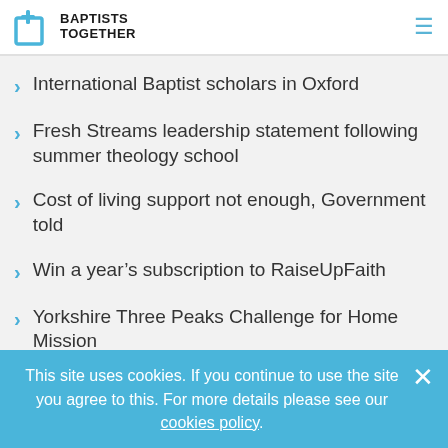Baptists Together
International Baptist scholars in Oxford
Fresh Streams leadership statement following summer theology school
Cost of living support not enough, Government told
Win a year's subscription to RaiseUpFaith
Yorkshire Three Peaks Challenge for Home Mission
This site uses cookies. If you continue to use the site you agree to this. For more details please see our cookies policy.